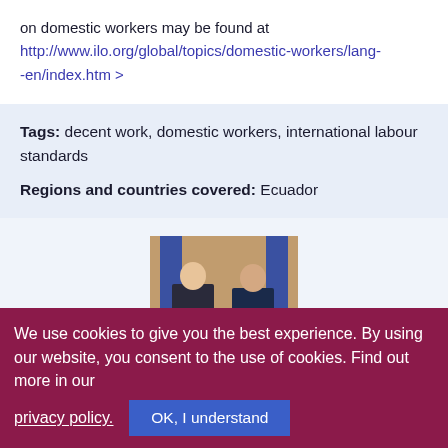on domestic workers may be found at http://www.ilo.org/global/topics/domestic-workers/lang--en/index.htm >
Tags: decent work, domestic workers, international labour standards
Regions and countries covered: Ecuador
[Figure (photo): Two men in suits posing together, likely in an official setting with flags in the background]
We use cookies to give you the best experience. By using our website, you consent to the use of cookies. Find out more in our
privacy policy.
OK, I understand